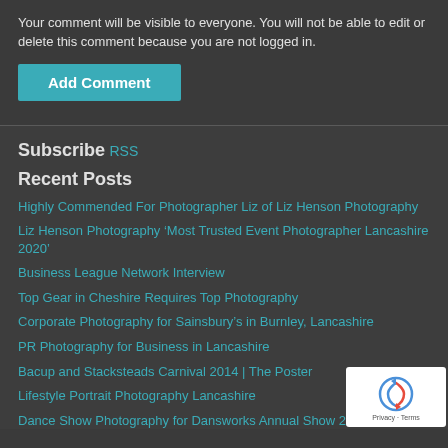Your comment will be visible to everyone. You will not be able to edit or delete this comment because you are not logged in.
Add Comment
Subscribe
RSS
Recent Posts
Highly Commended For Photographer Liz of Liz Henson Photography
Liz Henson Photography ‘Most Trusted Event Photographer Lancashire 2020’
Business League Network Interview
Top Gear in Cheshire Requires Top Photography
Corporate Photography for Sainsbury’s in Burnley, Lancashire
PR Photography for Business in Lancashire
Bacup and Stacksteads Carnival 2014 | The Poster
Lifestyle Portrait Photography Lancashire
Dance Show Photography for Dansworks Annual Show 2014
[Figure (logo): reCAPTCHA badge with Privacy and Terms links]